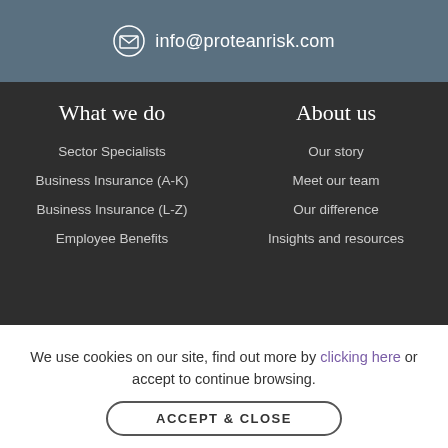info@proteanrisk.com
What we do
About us
Sector Specialists
Business Insurance (A-K)
Business Insurance (L-Z)
Employee Benefits
Our story
Meet our team
Our difference
Insights and resources
We use cookies on our site, find out more by clicking here or accept to continue browsing.
ACCEPT & CLOSE